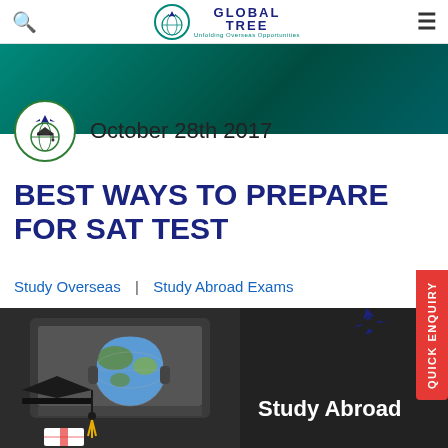Global Tree — Unfolding Overseas Opportunities
October 28th 2017
BEST WAYS TO PREPARE FOR SAT TEST
Study Overseas | Study Abroad Exams
[Figure (photo): Study Abroad hero image: graduation cap, globe and laptop on dark background with 'Study Abroad' text and airplane icon]
Study Abroad